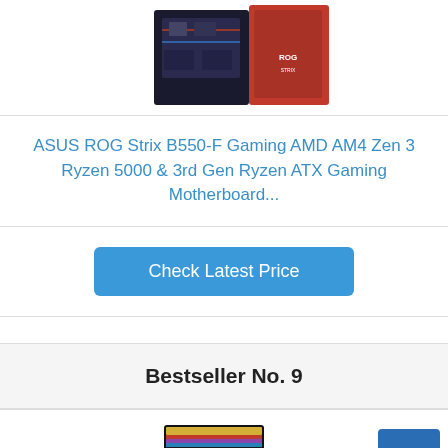[Figure (photo): ASUS ROG Strix B550-F Gaming motherboard product image with box]
ASUS ROG Strix B550-F Gaming AMD AM4 Zen 3 Ryzen 5000 & 3rd Gen Ryzen ATX Gaming Motherboard...
Check Latest Price
Bestseller No. 9
[Figure (photo): EVGA power supply product box photo]